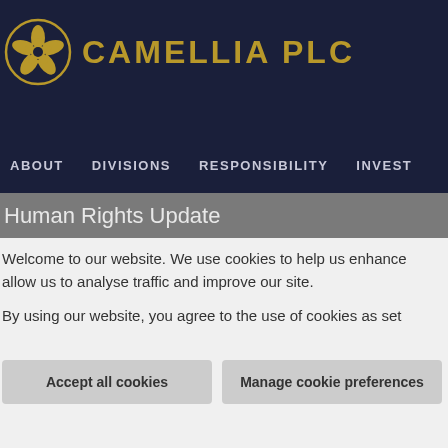[Figure (logo): Camellia PLC logo with circular flower emblem in gold and company name in gold uppercase letters on dark navy background]
ABOUT   DIVISIONS   RESPONSIBILITY   INVEST
Human Rights Update
Welcome to our website. We use cookies to help us enhance allow us to analyse traffic and improve our site.

By using our website, you agree to the use of cookies as set
Accept all cookies
Manage cookie preferences